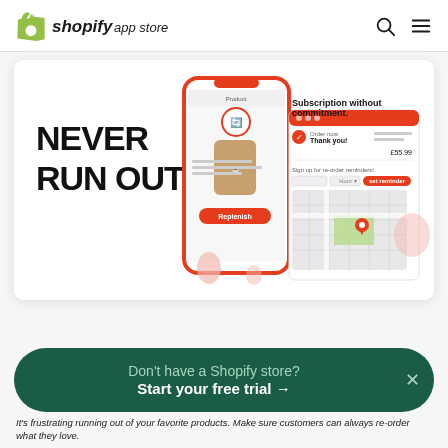shopify app store
[Figure (screenshot): App promotional banner showing 'NEVER RUN OUT.' headline with a mobile phone mockup displaying a replenishment app and a desktop UI showing subscription flow. Text reads: 'Subscription without commitment.' and 'Re-order reminders set by the customer to ensure they never run out.']
Don't have a Shopify store? Start your free trial →
It's frustrating running out of your favorite products. Make sure customers can always re-order what they love.